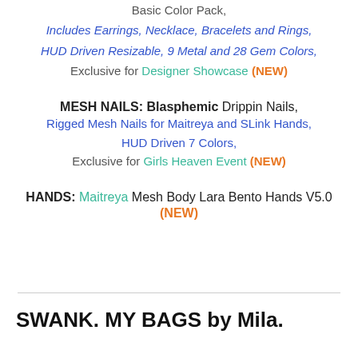Basic Color Pack,
Includes Earrings, Necklace, Bracelets and Rings, HUD Driven Resizable, 9 Metal and 28 Gem Colors,
Exclusive for Designer Showcase (NEW)
MESH NAILS: Blasphemic Drippin Nails, Rigged Mesh Nails for Maitreya and SLink Hands, HUD Driven 7 Colors, Exclusive for Girls Heaven Event (NEW)
HANDS: Maitreya Mesh Body Lara Bento Hands V5.0 (NEW)
SWANK. MY BAGS by Mila.